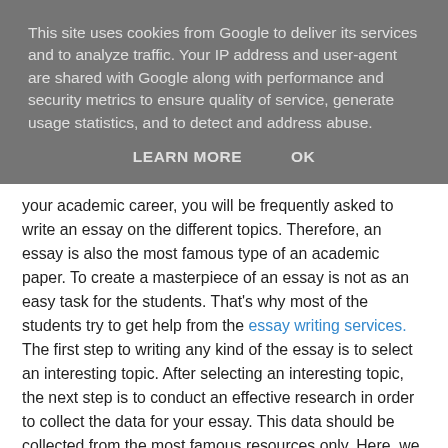This site uses cookies from Google to deliver its services and to analyze traffic. Your IP address and user-agent are shared with Google along with performance and security metrics to ensure quality of service, generate usage statistics, and to detect and address abuse.
LEARN MORE    OK
your academic career, you will be frequently asked to write an essay on the different topics. Therefore, an essay is also the most famous type of an academic paper. To create a masterpiece of an essay is not as an easy task for the students. That's why most of the students try to get help from the essay writing services. The first step to writing any kind of the essay is to select an interesting topic. After selecting an interesting topic, the next step is to conduct an effective research in order to collect the data for your essay. This data should be collected from the most famous resources only. Here, we will provide some important tips to the students that are helpful for them in order to build up the essay using the material that they have collected.
[Figure (other): Bottom partial box/frame, likely start of another content section]